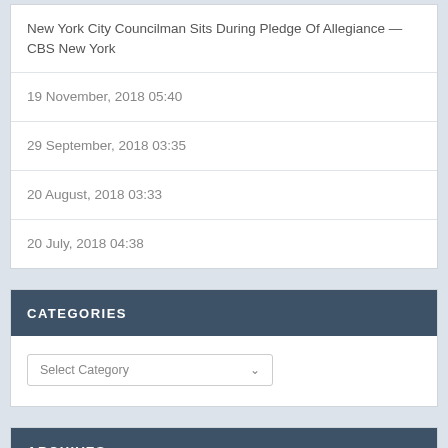New York City Councilman Sits During Pledge Of Allegiance — CBS New York
19 November, 2018 05:40
29 September, 2018 03:35
20 August, 2018 03:33
20 July, 2018 04:38
CATEGORIES
Select Category
ARCHIVES